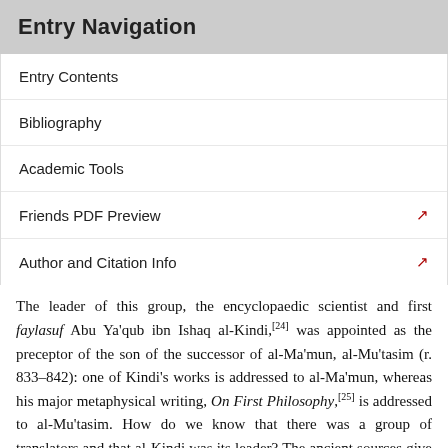Entry Navigation
Entry Contents
Bibliography
Academic Tools
Friends PDF Preview
Author and Citation Info
The leader of this group, the encyclopaedic scientist and first faylasuf Abu Ya'qub ibn Ishaq al-Kindi,[24] was appointed as the preceptor of the son of the successor of al-Ma'mun, al-Mu'tasim (r. 833–842): one of Kindi's works is addressed to al-Ma'mun, whereas his major metaphysical writing, On First Philosophy,[25] is addressed to al-Mu'tasim. How do we know that there was a group of translators and that al-Kindi was its leader? The ancient sources give a hint to this, in so far as they mention, for instance, that the earliest translation of Aristotle's Metaphysics was made for him.[26] Also, the